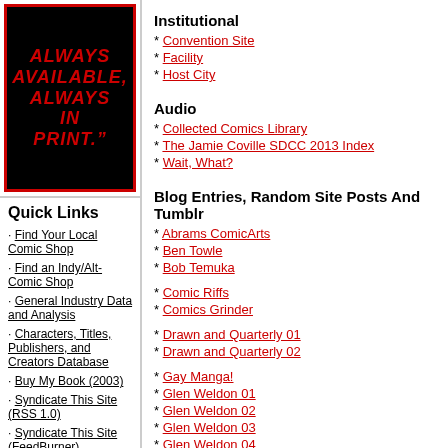[Figure (illustration): Black background banner with red italic bold text reading: ALWAYS AVAILABLE, ALWAYS IN PRINT."]
Quick Links
Find Your Local Comic Shop
Find an Indy/Alt-Comic Shop
General Industry Data and Analysis
Characters, Titles, Publishers, and Creators Database
Buy My Book (2003)
Syndicate This Site (RSS 1.0)
Syndicate This Site (FeedBurner)
Institutional
Convention Site
Facility
Host City
Audio
Collected Comics Library
The Jamie Coville SDCC 2013 Index
Wait, What?
Blog Entries, Random Site Posts And Tumblr
Abrams ComicArts
Ben Towle
Bob Temuka
Comic Riffs
Comics Grinder
Drawn and Quarterly 01
Drawn and Quarterly 02
Gay Manga!
Glen Weldon 01
Glen Weldon 02
Glen Weldon 03
Glen Weldon 04
Glen Weldon 05
Glen Weldon 06
Josh Shalek
Justin Giampaoli